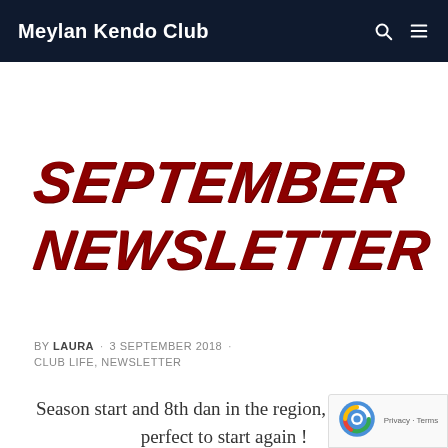Meylan Kendo Club
SEPTEMBER NEWSLETTER
BY LAURA · 3 SEPTEMBER 2018 · CLUB LIFE, NEWSLETTER
Season start and 8th dan in the region, everything perfect to start again !